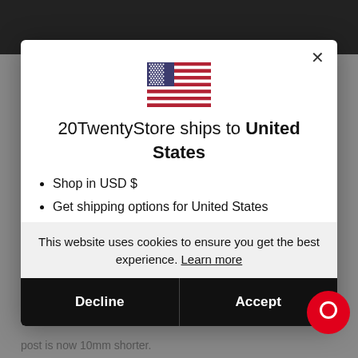[Figure (illustration): US flag emoji/icon centered at top of modal]
20TwentyStore ships to United States
Shop in USD $
Get shipping options for United States
This website uses cookies to ensure you get the best experience. Learn more
Decline
Accept
post is now 10mm shorter.